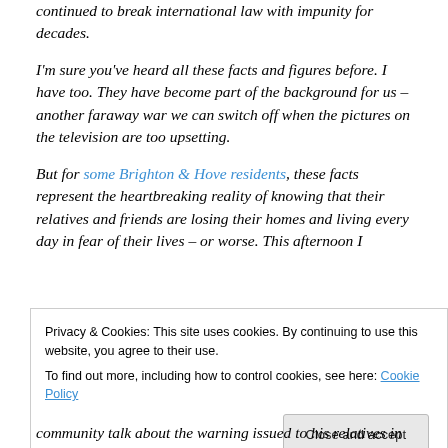continued to break international law with impunity for decades.
I'm sure you've heard all these facts and figures before. I have too. They have become part of the background for us – another faraway war we can switch off when the pictures on the television are too upsetting.
But for some Brighton & Hove residents, these facts represent the heartbreaking reality of knowing that their relatives and friends are losing their homes and living every day in fear of their lives – or worse. This afternoon I
Privacy & Cookies: This site uses cookies. By continuing to use this website, you agree to their use.
To find out more, including how to control cookies, see here: Cookie Policy
community talk about the warning issued to his relatives in